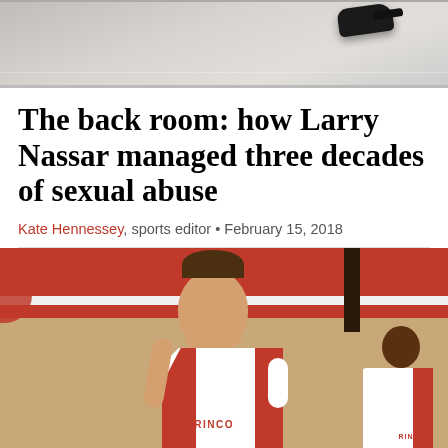[Figure (photo): Top partial photo showing a floor and a pair of dark shoes at the top right, cropped view]
The back room: how Larry Nassar managed three decades of sexual abuse
Kate Hennessey, sports editor · February 15, 2018
[Figure (photo): Basketball player in white and red LARINCO jersey looking upward during a game in a gym with red and white bleachers in background, second player visible on right]